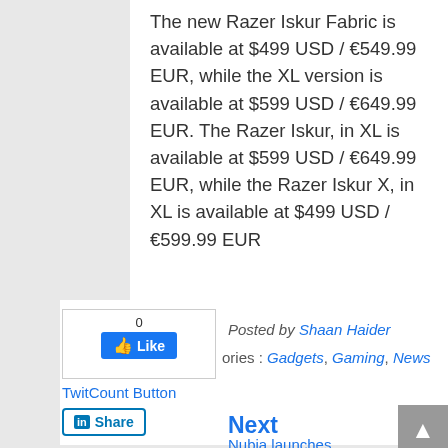The new Razer Iskur Fabric is available at $499 USD / €549.99 EUR, while the XL version is available at $599 USD / €649.99 EUR. The Razer Iskur, in XL is available at $599 USD / €649.99 EUR, while the Razer Iskur X, in XL is available at $499 USD / €599.99 EUR
Posted by Shaan Haider
ories : Gadgets, Gaming, News
TwitCount Button
Next
Nubia launches
Previous
Samsung Opens